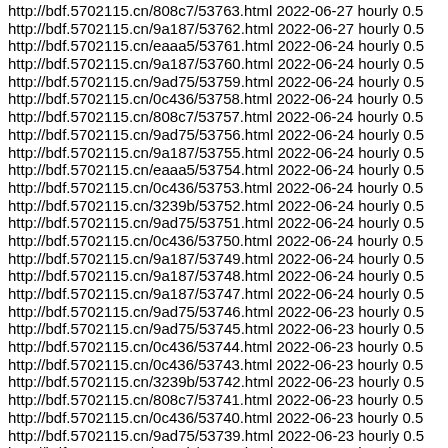http://bdf.5702115.cn/808c7/53763.html 2022-06-27 hourly 0.5
http://bdf.5702115.cn/9a187/53762.html 2022-06-27 hourly 0.5
http://bdf.5702115.cn/eaaa5/53761.html 2022-06-24 hourly 0.5
http://bdf.5702115.cn/9a187/53760.html 2022-06-24 hourly 0.5
http://bdf.5702115.cn/9ad75/53759.html 2022-06-24 hourly 0.5
http://bdf.5702115.cn/0c436/53758.html 2022-06-24 hourly 0.5
http://bdf.5702115.cn/808c7/53757.html 2022-06-24 hourly 0.5
http://bdf.5702115.cn/9ad75/53756.html 2022-06-24 hourly 0.5
http://bdf.5702115.cn/9a187/53755.html 2022-06-24 hourly 0.5
http://bdf.5702115.cn/eaaa5/53754.html 2022-06-24 hourly 0.5
http://bdf.5702115.cn/0c436/53753.html 2022-06-24 hourly 0.5
http://bdf.5702115.cn/3239b/53752.html 2022-06-24 hourly 0.5
http://bdf.5702115.cn/9ad75/53751.html 2022-06-24 hourly 0.5
http://bdf.5702115.cn/0c436/53750.html 2022-06-24 hourly 0.5
http://bdf.5702115.cn/9a187/53749.html 2022-06-24 hourly 0.5
http://bdf.5702115.cn/9a187/53748.html 2022-06-24 hourly 0.5
http://bdf.5702115.cn/9a187/53747.html 2022-06-24 hourly 0.5
http://bdf.5702115.cn/9ad75/53746.html 2022-06-23 hourly 0.5
http://bdf.5702115.cn/9ad75/53745.html 2022-06-23 hourly 0.5
http://bdf.5702115.cn/0c436/53744.html 2022-06-23 hourly 0.5
http://bdf.5702115.cn/0c436/53743.html 2022-06-23 hourly 0.5
http://bdf.5702115.cn/3239b/53742.html 2022-06-23 hourly 0.5
http://bdf.5702115.cn/808c7/53741.html 2022-06-23 hourly 0.5
http://bdf.5702115.cn/0c436/53740.html 2022-06-23 hourly 0.5
http://bdf.5702115.cn/9ad75/53739.html 2022-06-23 hourly 0.5
http://bdf.5702115.cn/3239b/53738.html 2022-06-23 hourly 0.5